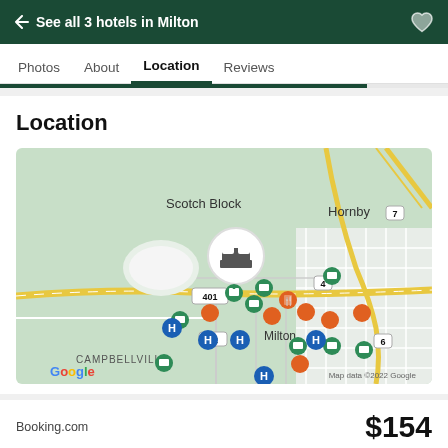← See all 3 hotels in Milton
Photos   About   Location   Reviews
Location
[Figure (map): Google map showing the location of a hotel near Milton, Ontario, with surrounding areas including Scotch Block, Hornby, and Campbellville. Various colored map pins (green, orange, blue) mark hotels and restaurants. Highway 401, 4, 6, 7, and 22 are labeled. Map data ©2022 Google.]
Booking.com
$154
View deal